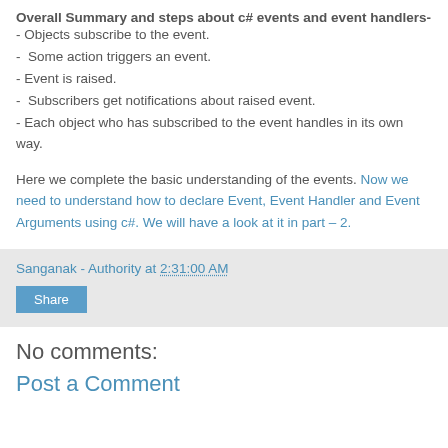Overall Summary and steps about c# events and event handlers-
- Objects subscribe to the event.
-  Some action triggers an event.
- Event is raised.
-  Subscribers get notifications about raised event.
- Each object who has subscribed to the event handles in its own way.
Here we complete the basic understanding of the events. Now we need to understand how to declare Event, Event Handler and Event Arguments using c#. We will have a look at it in part – 2.
Sanganak - Authority at 2:31:00 AM
Share
No comments:
Post a Comment